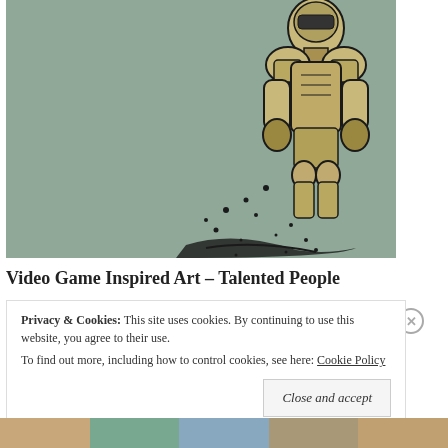[Figure (illustration): A comic-book style illustration of an armored soldier or video game character in beige/tan tones against a muted sage-green background. The character is shown from upper body, wearing heavy armor and a helmet, with debris and particles scattered around them at the bottom.]
Video Game Inspired Art – Talented People
Privacy & Cookies: This site uses cookies. By continuing to use this website, you agree to their use. To find out more, including how to control cookies, see here: Cookie Policy